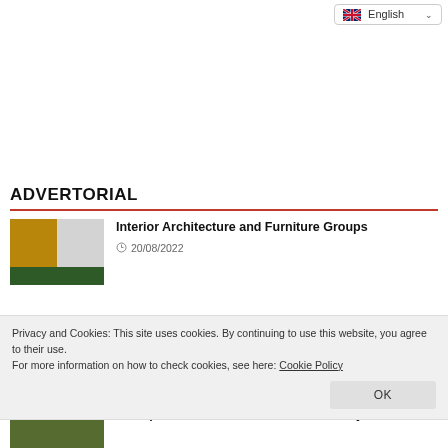English
ADVERTORIAL
Interior Architecture and Furniture Groups
20/08/2022
Privacy and Cookies: This site uses cookies. By continuing to use this website, you agree to their use.
For more information on how to check cookies, see here: Cookie Policy
OK
Transport of Personal Goods from Turkey